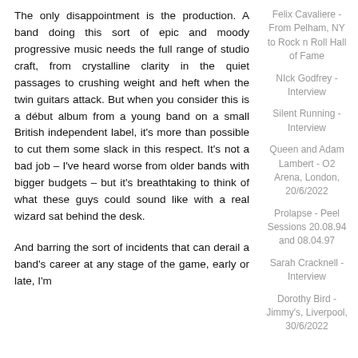The only disappointment is the production. A band doing this sort of epic and moody progressive music needs the full range of studio craft, from crystalline clarity in the quiet passages to crushing weight and heft when the twin guitars attack. But when you consider this is a début album from a young band on a small British independent label, it's more than possible to cut them some slack in this respect. It's not a bad job – I've heard worse from older bands with bigger budgets – but it's breathtaking to think of what these guys could sound like with a real wizard sat behind the desk.
And barring the sort of incidents that can derail a band's career at any stage of the game, early or late, I'm
Felix Cavaliere - From Pelham, NY to Rock n Roll Hall of Fame
NIck Godfrey - Interview
Silent Running - Interview
Queen and Adam Lambert - O2 Arena, London, 20/6/2022
Prolapse - Peel Sessions 20.08.94 and 08.04.97
Sarah Cracknell - Interview
Dorothy Bird - Jimmy's, Liverpool, 30/6/2022